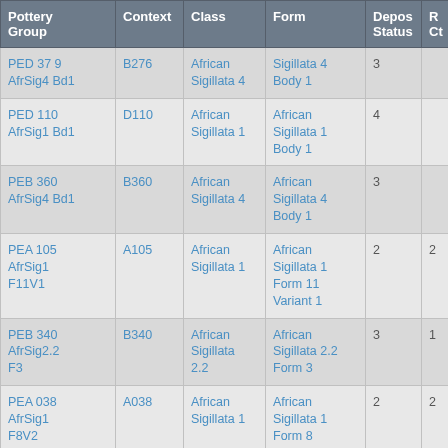| Pottery Group | Context | Class | Form | Depos Status | R Ct | R EV |
| --- | --- | --- | --- | --- | --- | --- |
| PED 37 9 AfrSig4 Bd1 | B276 | African Sigillata 4 | Sigillata 4 Body 1 | 3 |  |  |
| PED 110 AfrSig1 Bd1 | D110 | African Sigillata 1 | African Sigillata 1 Body 1 | 4 |  |  |
| PEB 360 AfrSig4 Bd1 | B360 | African Sigillata 4 | African Sigillata 4 Body 1 | 3 |  |  |
| PEA 105 AfrSig1 F11V1 | A105 | African Sigillata 1 | African Sigillata 1 Form 11 Variant 1 | 2 | 2 | 2 |
| PEB 340 AfrSig2.2 F3 | B340 | African Sigillata 2.2 | African Sigillata 2.2 Form 3 | 3 | 1 | 1 |
| PEA 038 AfrSig1 F8V2 | A038 | African Sigillata 1 | African Sigillata 1 Form 8 Variant 2 | 2 | 2 | 2 |